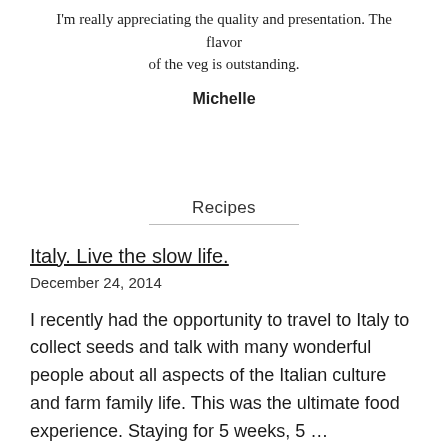I'm really appreciating the quality and presentation. The flavor of the veg is outstanding.
Michelle
Recipes
Italy. Live the slow life.
December 24, 2014
I recently had the opportunity to travel to Italy to collect seeds and talk with many wonderful people about all aspects of the Italian culture and farm family life. This was the ultimate food experience. Staying for 5 weeks, 5 …